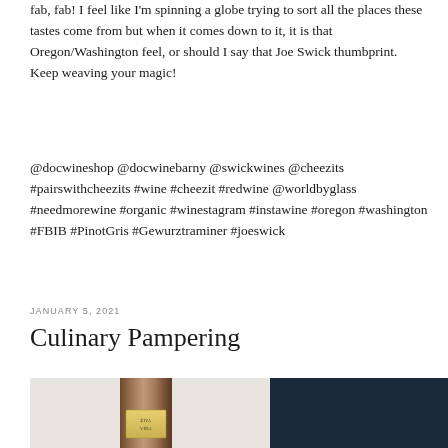fab, fab! I feel like I'm spinning a globe trying to sort all the places these tastes come from but when it comes down to it, it is that Oregon/Washington feel, or should I say that Joe Swick thumbprint. Keep weaving your magic!
@docwineshop @docwinebarny @swickwines @cheezits #pairswithcheezits #wine #cheezit #redwine @worldbyglass #needmorewine #organic #winestagram #instawine #oregon #washington #FBIB #PinotGris #Gewurztraminer #joeswick
JANUARY 5, 2021
Culinary Pampering
[Figure (photo): A wine bottle (brown/amber glass) with a gold/yellow label showing 'ŽIVA VINA' text, photographed against a light background with a dark background visible on the right side]